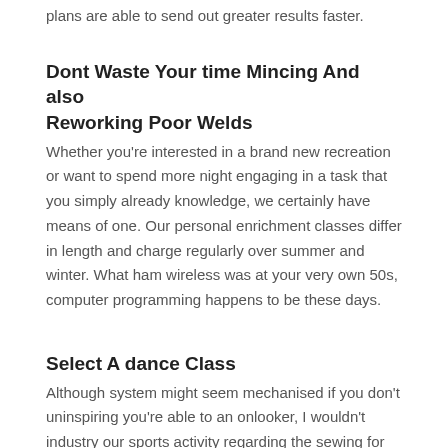plans are able to send out greater results faster.
Dont Waste Your time Mincing And also Reworking Poor Welds
Whether you're interested in a brand new recreation or want to spend more night engaging in a task that you simply already knowledge, we certainly have means of one. Our personal enrichment classes differ in length and charge regularly over summer and winter. What ham wireless was at your very own 50s, computer programming happens to be these days.
Select A dance Class
Although system might seem mechanised if you don't uninspiring you're able to an onlooker, I wouldn't industry our sports activity regarding the sewing for your all the rest of it on earth. Subsequently, my favorite desire has been a way to obtain activities. I'd experiment the machine and also to morning does